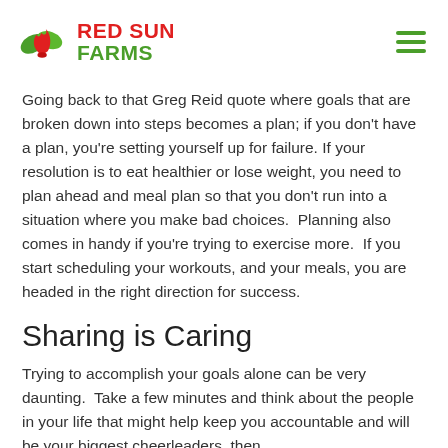[Figure (logo): Red Sun Farms logo with red and green leaf/flame icon and 'RED SUN FARMS' text in red and green]
Going back to that Greg Reid quote where goals that are broken down into steps becomes a plan; if you don’t have a plan, you’re setting yourself up for failure. If your resolution is to eat healthier or lose weight, you need to plan ahead and meal plan so that you don’t run into a situation where you make bad choices.  Planning also comes in handy if you’re trying to exercise more.  If you start scheduling your workouts, and your meals, you are headed in the right direction for success.
Sharing is Caring
Trying to accomplish your goals alone can be very daunting.  Take a few minutes and think about the people in your life that might help keep you accountable and will be your biggest cheerleaders, then